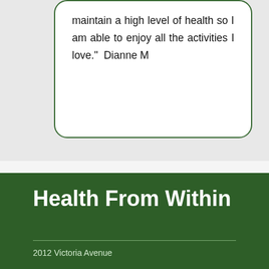maintain a high level of health so I am able to enjoy all the activities I love."  Dianne M
Health From Within
2012 Victoria Avenue